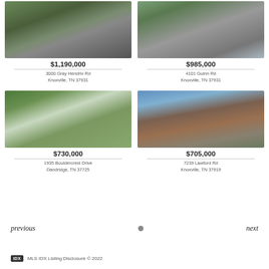[Figure (photo): Exterior photo of property at 3000 Gray Hendrix Rd showing house with garage and driveway]
$1,190,000
3000 Gray Hendrix Rd
Knoxville, TN 37931
[Figure (photo): Exterior photo of property at 4101 Guinn Rd showing lakefront property with garage]
$985,000
4101 Guinn Rd
Knoxville, TN 37931
[Figure (photo): Exterior photo of property at 1935 Bouldercrest Drive showing lakefront home with dock]
$730,000
1935 Bouldercrest Drive
Dandridge, TN 37725
[Figure (photo): Exterior photo of property at 7239 Lawford Rd showing brick two-story home with garage]
$705,000
7239 Lawford Rd
Knoxville, TN 37919
previous
next
IDX  MLS IDX Listing Disclosure © 2022